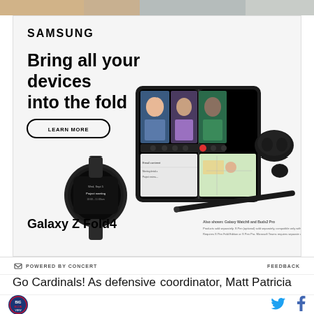[Figure (photo): Top banner image strip showing partial photo of people in a room]
[Figure (illustration): Samsung Galaxy Z Fold4 advertisement. Shows Samsung logo, headline 'Bring all your devices into the fold', LEARN MORE button, product image with Galaxy Z Fold4 phone open in book fold mode showing video call screen with three people, Galaxy Watch6 smartwatch, Buds2 Pro earbuds, and S Pen stylus. Bottom shows 'Galaxy Z Fold4' text and 'Also shown: Galaxy Watch6 and Buds2 Pro' disclaimer.]
POWERED BY CONCERT    FEEDBACK
Go Cardinals! As defensive coordinator, Matt Patricia
[Figure (logo): Circular sports team logo with red and blue colors]
[Figure (illustration): Twitter bird icon in blue]
[Figure (illustration): Facebook f icon in blue]